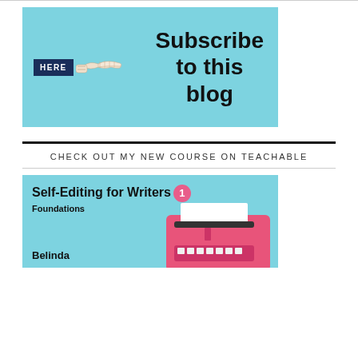[Figure (illustration): Light blue subscribe banner with 'HERE' button and pointing hand illustration, text reads 'Subscribe to this blog']
CHECK OUT MY NEW COURSE ON TEACHABLE
[Figure (illustration): Light blue course banner showing 'Self-Editing for Writers 1 Foundations' with a pink typewriter illustration and author name 'Belinda']